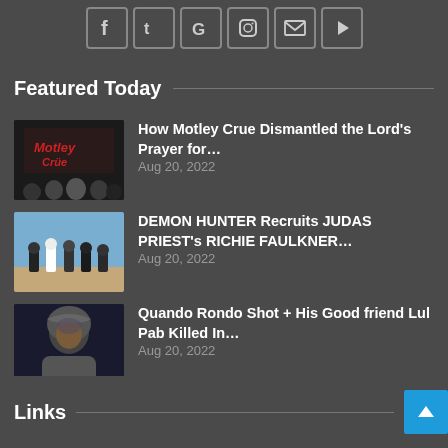[Figure (screenshot): Social media sharing icons row: Facebook, Twitter, Google+, Instagram, Email, Play/Video buttons in bordered squares]
Featured Today
[Figure (photo): Motley Crue album/band photo thumbnail]
How Motley Crue Dismantled the Lord's Prayer for…
Aug 20, 2022
[Figure (photo): Demon Hunter band photo thumbnail - group of people standing in desert]
DEMON HUNTER Recruits JUDAS PRIEST's RICHIE FAULKNER…
Aug 20, 2022
[Figure (photo): Quando Rondo photo thumbnail - person in hoodie]
Quando Rondo Shot + His Good friend Lul Pab Killed In…
Aug 20, 2022
Links